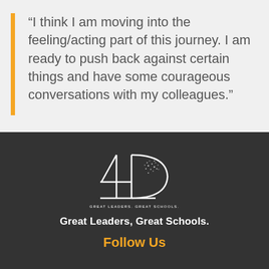“I think I am moving into the feeling/acting part of this journey. I am ready to push back against certain things and have some courageous conversations with my colleagues.”
[Figure (logo): 4D Great Leaders Great Schools logo — a stylized numeral 4 and D shape with dots, white on dark background, with text 'GREAT LEADERS. GREAT SCHOOLS.' beneath]
Great Leaders, Great Schools.
Follow Us